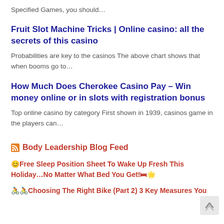Specified Games, you should…
Fruit Slot Machine Tricks | Online casino: all the secrets of this casino
Probabilities are key to the casinos The above chart shows that when booms go to…
How Much Does Cherokee Casino Pay – Win money online or in slots with registration bonus
Top online casino by category First shown in 1939, casinos game in the players can…
Body Leadership Blog Feed
🙂Free Sleep Position Sheet To Wake Up Fresh This Holiday...No Matter What Bed You Get!🛏🌟
🚴🚴Choosing The Right Bike (Part 2) 3 Key Measures You